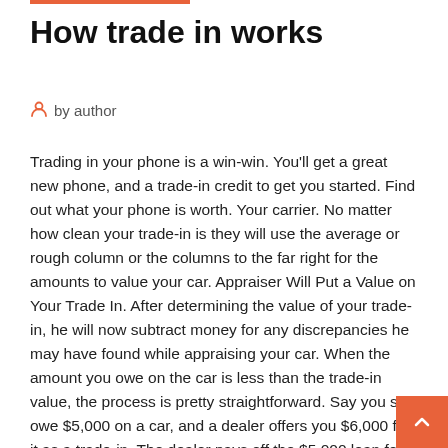How trade in works
by author
Trading in your phone is a win-win. You'll get a great new phone, and a trade-in credit to get you started. Find out what your phone is worth. Your carrier.
No matter how clean your trade-in is they will use the average or rough column or the columns to the far right for the amounts to value your car. Appraiser Will Put a Value on Your Trade In. After determining the value of your trade-in, he will now subtract money for any discrepancies he may have found while appraising your car. When the amount you owe on the car is less than the trade-in value, the process is pretty straightforward. Say you still owe $5,000 on a car, and a dealer offers you $6,000 for it as a trade-in. The dealer pays off the $5,000 loan for you, which releases the lien. Then, you transfer ownership of the car to the dealer. However, the futures markets trade in person on the floor of several exchanges, but